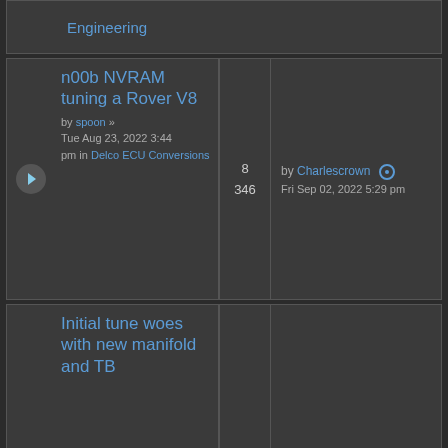Engineering (link, top row)
n00b NVRAM tuning a Rover V8 by spoon » Tue Aug 23, 2022 3:44 pm in Delco ECU Conversions | 8 replies | 346 views | by Charlescrown | Fri Sep 02, 2022 5:29 pm
Initial tune woes with new manifold and TB